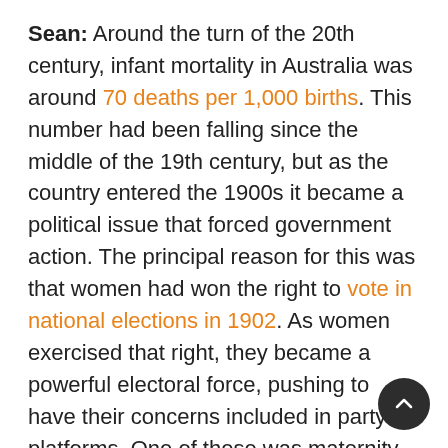Sean: Around the turn of the 20th century, infant mortality in Australia was around 70 deaths per 1,000 births. This number had been falling since the middle of the 19th century, but as the country entered the 1900s it became a political issue that forced government action. The principal reason for this was that women had won the right to vote in national elections in 1902. As women exercised that right, they became a powerful electoral force, pushing to have their concerns included in party platforms. One of these was maternity benefits and protections, as not only was infant mortality a concern, but the cost of giving birth could put a significant strain on a family's finances. As a result of women's lobbying efforts, the Labour Party included maternity benefits as part of its 1910